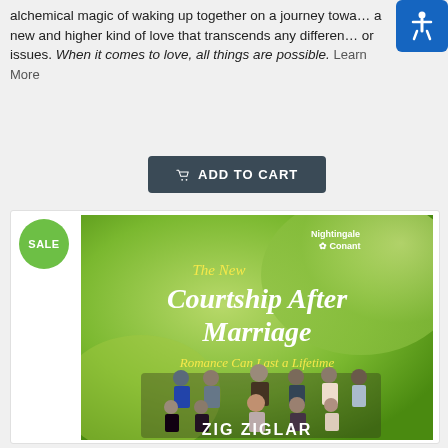alchemical magic of waking up together on a journey toward a new and higher kind of love that transcends any differences or issues. When it comes to love, all things are possible. Learn More
ADD TO CART
[Figure (photo): Book cover for 'The New Courtship After Marriage: Romance Can Last a Lifetime' by Zig Ziglar, published by Nightingale Conant. Green background with group photo of people. Has a SALE badge overlay.]